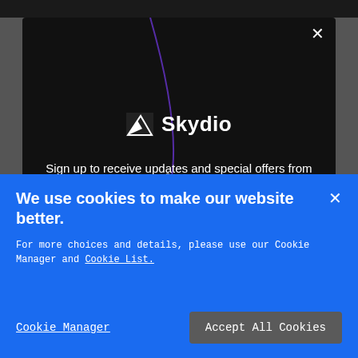[Figure (screenshot): Skydio website modal popup with logo and email signup form on dark background with decorative purple curved line]
Sign up to receive updates and special offers from Skydio.
Email
We use cookies to make our website better.
For more choices and details, please use our Cookie Manager and Cookie List.
Cookie Manager
Accept All Cookies